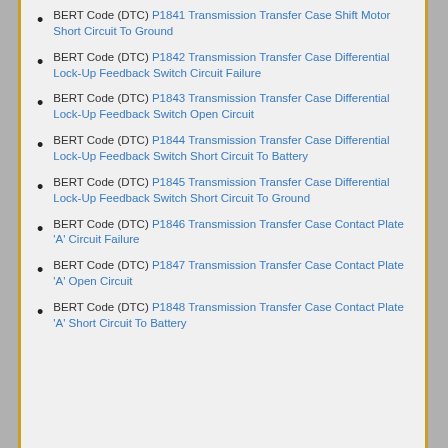BERT Code (DTC) P1841 Transmission Transfer Case Shift Motor Short Circuit To Ground
BERT Code (DTC) P1842 Transmission Transfer Case Differential Lock-Up Feedback Switch Circuit Failure
BERT Code (DTC) P1843 Transmission Transfer Case Differential Lock-Up Feedback Switch Open Circuit
BERT Code (DTC) P1844 Transmission Transfer Case Differential Lock-Up Feedback Switch Short Circuit To Battery
BERT Code (DTC) P1845 Transmission Transfer Case Differential Lock-Up Feedback Switch Short Circuit To Ground
BERT Code (DTC) P1846 Transmission Transfer Case Contact Plate 'A' Circuit Failure
BERT Code (DTC) P1847 Transmission Transfer Case Contact Plate 'A' Open Circuit
BERT Code (DTC) P1848 Transmission Transfer Case Contact Plate 'A' Short Circuit To Battery